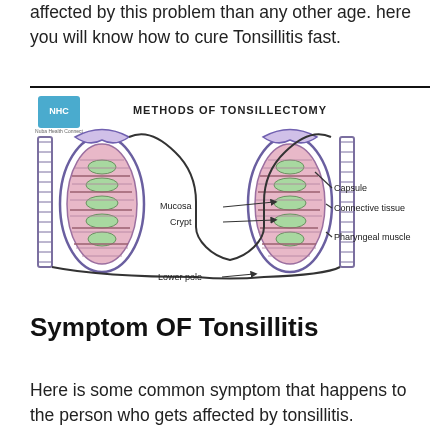affected by this problem than any other age. here you will know how to cure Tonsillitis fast.
[Figure (illustration): Anatomical diagram titled 'METHODS OF TONSILLECTOMY' showing a cross-section of tonsils with labeled parts: Mucosa, Crypt, Lower pole, Capsule, Connective tissue, Pharyngeal muscle. Includes a small logo in the top-left corner.]
Symptom OF Tonsillitis
Here is some common symptom that happens to the person who gets affected by tonsillitis.